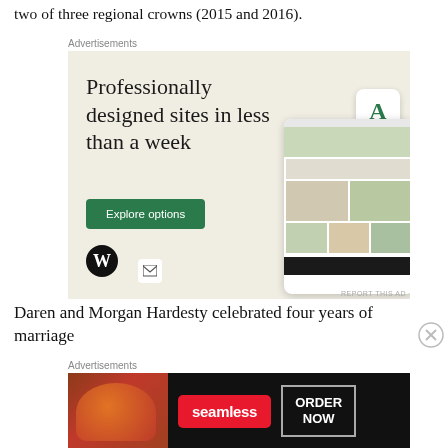two of three regional crowns (2015 and 2016).
[Figure (other): WordPress advertisement: 'Professionally designed sites in less than a week' with Explore options button, WordPress logo, and website mockup images]
Daren and Morgan Hardesty celebrated four years of marriage
[Figure (other): Seamless food delivery advertisement showing pizza image, Seamless logo, and ORDER NOW button on dark background]